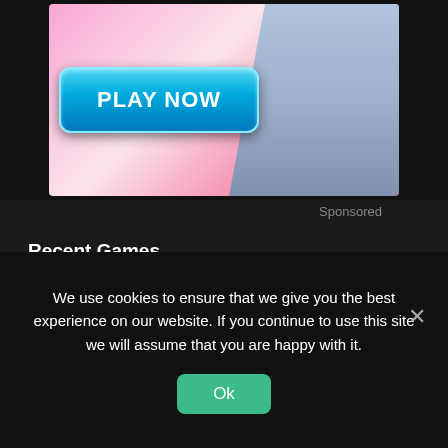[Figure (screenshot): Ad banner with anime character and 'PLAY NOW' button on pink floral background]
Sponsored
Recent Games
[Figure (screenshot): Land of War game thumbnail showing dark military scene with text 'ID OF WAR THE BEGINNING']
Land of War – The Beginning Free Download
June 13, 2021
[Figure (screenshot): Open Country game thumbnail showing deer silhouette]
Open Country Free Download
We use cookies to ensure that we give you the best experience on our website. If you continue to use this site we will assume that you are happy with it.